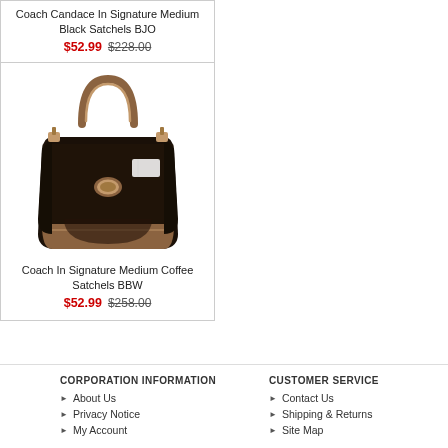Coach Candace In Signature Medium Black Satchels BJO
$52.99  $228.00
[Figure (photo): Coach In Signature Medium Coffee Satchels BBW — dark brown signature pattern bag with bronze/gold leather handles and trim]
Coach In Signature Medium Coffee Satchels BBW
$52.99  $258.00
CORPORATION INFORMATION
About Us
Privacy Notice
My Account
CUSTOMER SERVICE
Contact Us
Shipping & Returns
Site Map